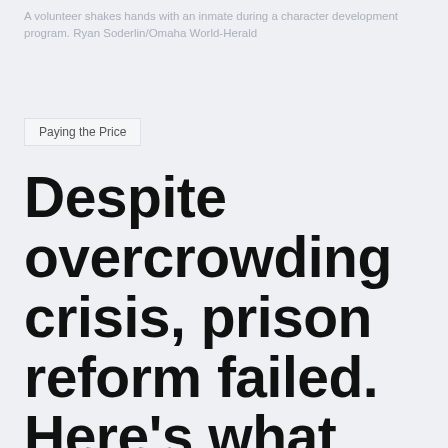A volunteer shakes hands with an inmate during a character development program. Ryan Soderlin/Omaha World-Herald
Paying the Price
Despite overcrowding crisis, prison reform failed. Here's what went wrong.